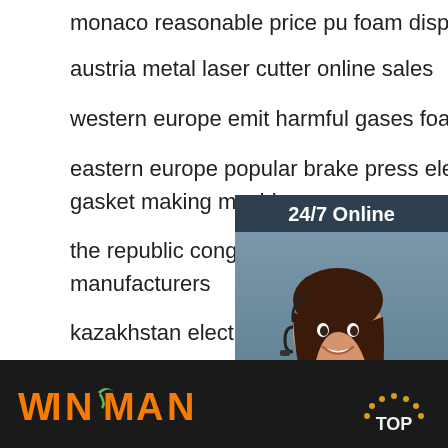monaco reasonable price pu foam dispensing machine
austria metal laser cutter online sales
western europe emit harmful gases foam gasket machine
eastern europe popular brake press electrical switchboard enclosure gasket making machine
the republic congo best value glue dispensing machine manufacturers
kazakhstan electrical cabinet gasket machine booked
[Figure (photo): Customer service representative woman with headset smiling, with '24/7 Online' header, 'Click here for free chat!' text, and orange QUOTATION button]
24 hours at your service:
kongweihui01@gmail
Newsletter
Please enter content
Search
[Figure (logo): WINMAN logo in orange and green on dark background]
TOP